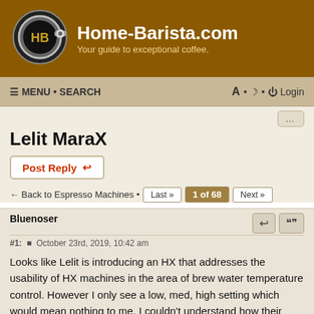[Figure (logo): Home-Barista.com logo with espresso machine portafilter icon]
Home-Barista.com
Your guide to exceptional coffee
≡ MENU • SEARCH   A • ☾ • ⏻ Login
Lelit MaraX
Post Reply
← Back to Espresso Machines • Last » 1 of 68 Next »
Bluenoser
#1:  October 23rd, 2019, 10:42 am
Looks like Lelit is introducing an HX that addresses the usability of HX machines in the area of brew water temperature control. However I only see a low, med, high setting which would mean nothing to me. I couldn't understand how their control system works.
Anyone have any clearer explanations?